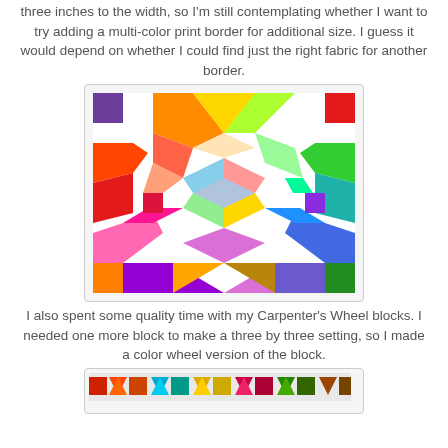three inches to the width, so I'm still contemplating whether I want to try adding a multi-color print border for additional size. I guess it would depend on whether I could find just the right fabric for another border.
[Figure (photo): A colorful Carpenter's Wheel quilt block featuring rainbow-colored star points arranged in a pinwheel pattern on a white background, with small colored squares in the corners.]
I also spent some quality time with my Carpenter's Wheel blocks. I needed one more block to make a three by three setting, so I made a color wheel version of the block.
[Figure (photo): Partial view of quilt blocks showing a row of colorful triangles and squares at the bottom of the page.]